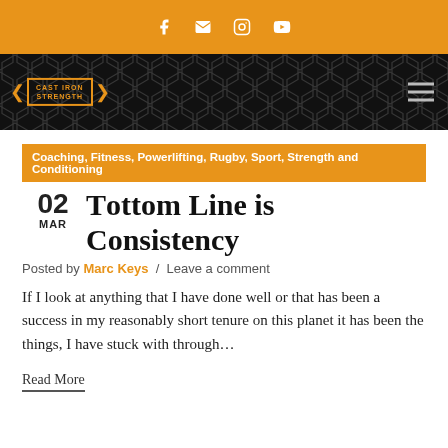Social icons: Facebook, Email, Instagram, YouTube
[Figure (logo): Cast Iron Strength logo with wings on dark hexagon background, hamburger menu icon]
Coaching, Fitness, Powerlifting, Rugby, Sport, Strength and Conditioning
The Bottom Line is Consistency
02 MAR
Posted by Marc Keys / Leave a comment
If I look at anything that I have done well or that has been a success in my reasonably short tenure on this planet it has been the things, I have stuck with through...
Read More